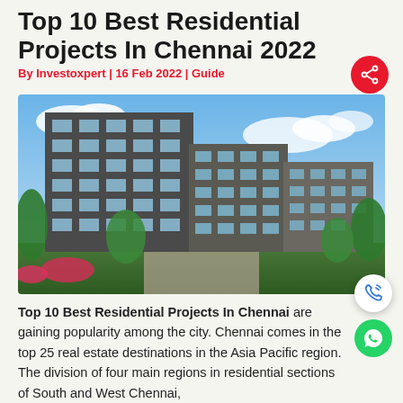Top 10 Best Residential Projects In Chennai 2022
By Investoxpert | 16 Feb 2022 | Guide
[Figure (photo): Exterior rendering of a modern multi-storey residential apartment complex with glass facades, balconies with greenery, surrounded by trees and landscaping under a blue sky with clouds.]
Top 10 Best Residential Projects In Chennai are gaining popularity among the city. Chennai comes in the top 25 real estate destinations in the Asia Pacific region. The division of four main regions in residential sections of South and West Chennai,